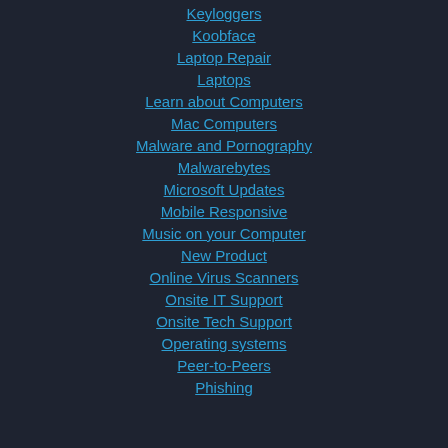Keyloggers
Koobface
Laptop Repair
Laptops
Learn about Computers
Mac Computers
Malware and Pornography
Malwarebytes
Microsoft Updates
Mobile Responsive
Music on your Computer
New Product
Online Virus Scanners
Onsite IT Support
Onsite Tech Support
Operating systems
Peer-to-Peers
Phishing